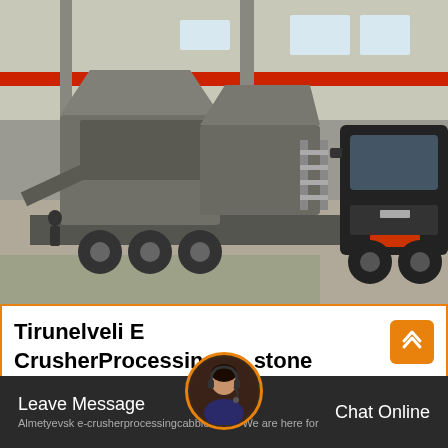[Figure (photo): A large mobile crusher / jaw crusher machine mounted on a truck trailer, inside an industrial warehouse with steel framework, overhead crane (red beam), high ceiling with skylights, and a large black semi-truck cab visible on the right side.]
Tirunelveli E CrusherProcessing stone
Almetyevsk e-crusherprocessingcabblestone. We are here for